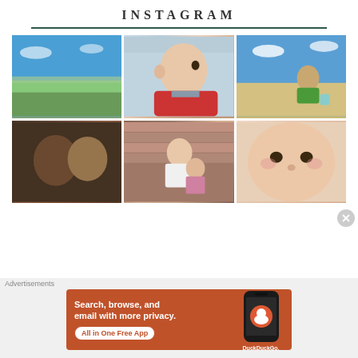INSTAGRAM
[Figure (photo): Grid of 6 Instagram photos: landscape with blue sky, baby in red shirt at beach, toddler on sand at beach, two babies face-kissing, man and toddler by brick wall, newborn face close-up]
Advertisements
[Figure (screenshot): DuckDuckGo advertisement banner: orange background, text 'Search, browse, and email with more privacy. All in One Free App', with phone showing DuckDuckGo logo]